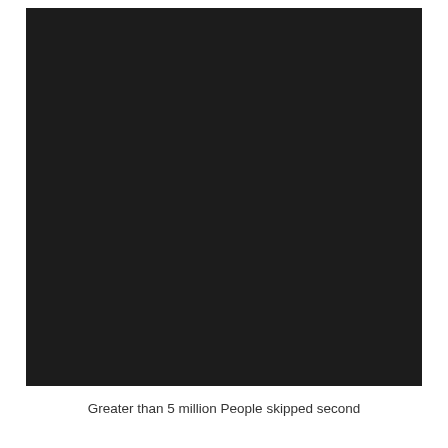[Figure (photo): A large mostly black/very dark image occupying the upper portion of the page.]
Greater than 5 million People skipped second